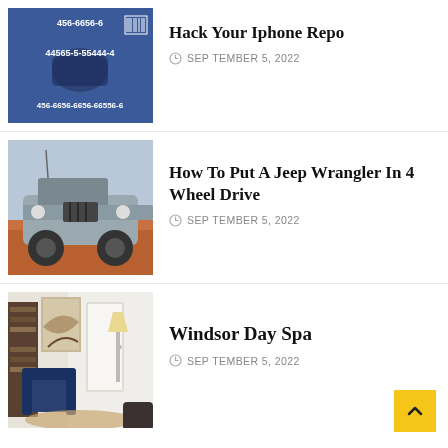[Figure (photo): Thumbnail of blue background with phone numbers: 456-6656-6, 44565-5-55444-4, 456-6656-6656-66556-6]
Hack Your Iphone Repo
SEPTEMBER 5, 2022
[Figure (photo): Thumbnail of a Jeep Wrangler off-road on red rocks]
How To Put A Jeep Wrangler In 4 Wheel Drive
SEPTEMBER 5, 2022
[Figure (photo): Thumbnail of a day spa interior with bookshelf, armchair, and lamp]
Windsor Day Spa
SEPTEMBER 5, 2022